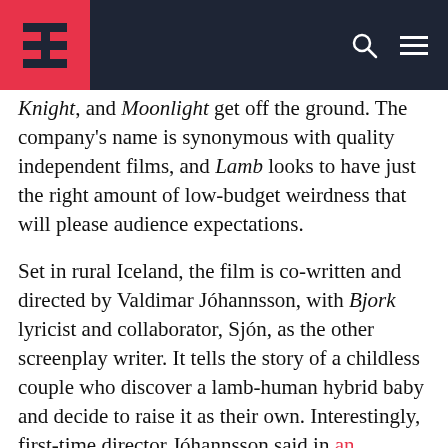[Site logo and navigation header]
Knight, and Moonlight get off the ground. The company's name is synonymous with quality independent films, and Lamb looks to have just the right amount of low-budget weirdness that will please audience expectations.
Set in rural Iceland, the film is co-written and directed by Valdimar Jóhannsson, with Bjork lyricist and collaborator, Sjón, as the other screenplay writer. It tells the story of a childless couple who discover a lamb-human hybrid baby and decide to raise it as their own. Interestingly, first-time director Jóhannsson said in an interview with Variety that he doesn't consider it horror. It's inspired more by the Icelandic folktales he grew up with.